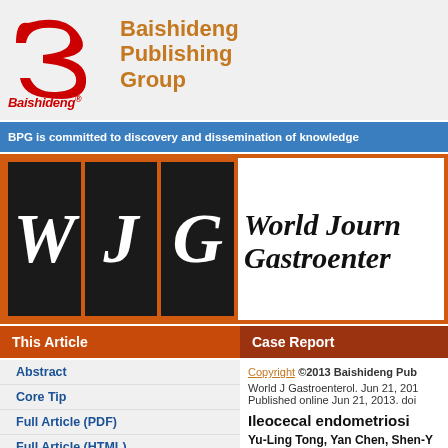[Figure (logo): Baishideng Publishing Group logo with red stylized 'B' icon and brown text]
Baishideng Publishing Group
BPG is committed to discovery and dissemination of knowledge
[Figure (logo): World Journal of Gastroenterology (WJG) logo with three dark tiles showing W, J, G letters in italic and journal title text]
This Article
Case Report
Abstract
Core Tip
Full Article (PDF)
Full Article (HTML)
PubMed Central
PubMed
Copyright ©2013 Baishideng Pub
World J Gastroenterol. Jun 21, 201
Published online Jun 21, 2013. doi
Ileocecal endometriosi
Yu-Ling Tong, Yan Chen, Shen-Y